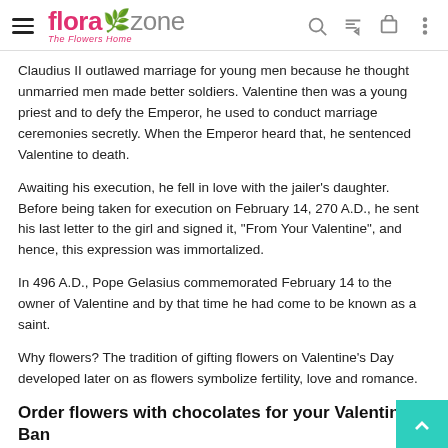flora zone - The Flowers Home
Claudius II outlawed marriage for young men because he thought unmarried men made better soldiers. Valentine then was a young priest and to defy the Emperor, he used to conduct marriage ceremonies secretly. When the Emperor heard that, he sentenced Valentine to death.
Awaiting his execution, he fell in love with the jailer’s daughter. Before being taken for execution on February 14, 270 A.D., he sent his last letter to the girl and signed it, “From Your Valentine”, and hence, this expression was immortalized.
In 496 A.D., Pope Gelasius commemorated February 14 to the owner of Valentine and by that time he had come to be known as a saint.
Why flowers? The tradition of gifting flowers on Valentine’s Day developed later on as flowers symbolize fertility, love and romance.
Order flowers with chocolates for your Valentine in Ban
After flowers it’s the chocolates that are the hottest item on Valentine’s Day. A great thing about ordering on Flora Zone is that along with ordering your favourite flowers for your Valentine, you can order chocolates meant for your loved ones as a gift...